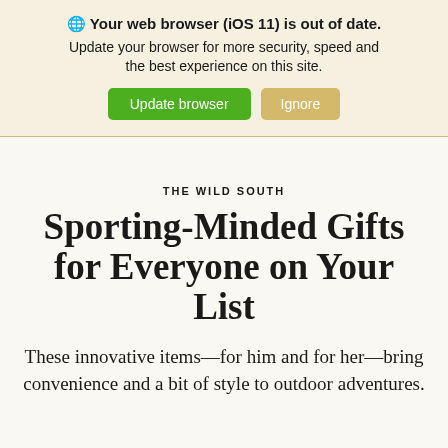🌐 Your web browser (iOS 11) is out of date. Update your browser for more security, speed and the best experience on this site. [Update browser] [Ignore]
THE WILD SOUTH
Sporting-Minded Gifts for Everyone on Your List
These innovative items—for him and for her—bring convenience and a bit of style to outdoor adventures.